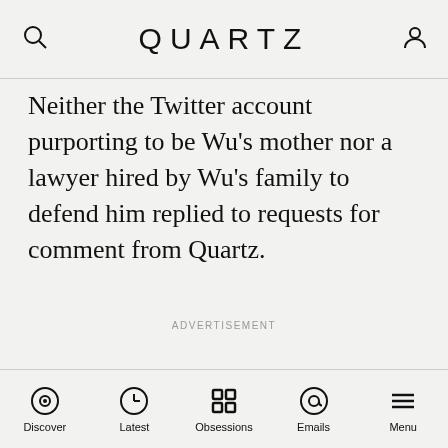QUARTZ
Neither the Twitter account purporting to be Wu’s mother nor a lawyer hired by Wu’s family to defend him replied to requests for comment from Quartz.
ADVERTISEMENT
Discover Latest Obsessions Emails Menu